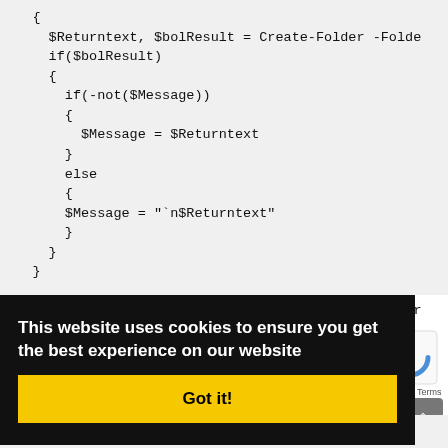{
    $Returntext, $bolResult = Create-Folder -Folde
    if($bolResult)
    {
      if(-not($Message))
      {
        $Message = $Returntext
      }
      else
      {
        $Message = "`n$Returntext"
      }
    }
This website uses cookies to ensure you get the best experience on our website
Got it!
eError
[Figure (other): reCAPTCHA logo/widget (blue circular arrow icon)]
Privacy - Terms
======
# Define the results file. This file contains all